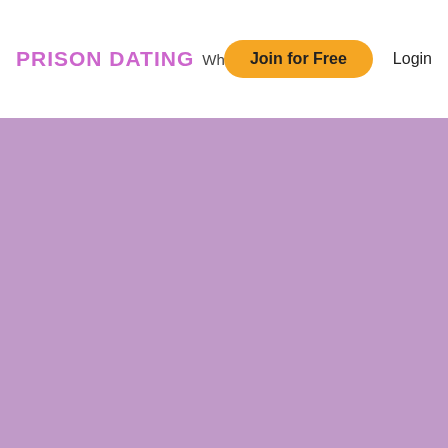PRISON DATING | Who's Online 24 | Join for Free | Login
[Figure (illustration): Solid purple/lavender colored background area filling the lower portion of the page]